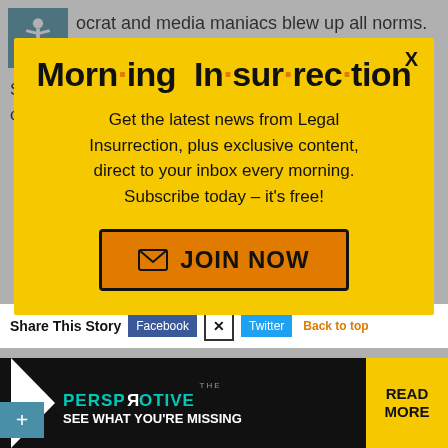ocrat and media maniacs blew up all norms.
So I'm going to sit back and watch the election contests that are going on right now. Stay the
[Figure (screenshot): Yellow modal popup for Morning Insurrection newsletter signup with orange JOIN NOW button]
Share This Story   Facebook   Twitter   Back to top
[Figure (infographic): The Perspective advertisement banner - SEE WHAT YOU'RE MISSING - READ MORE]